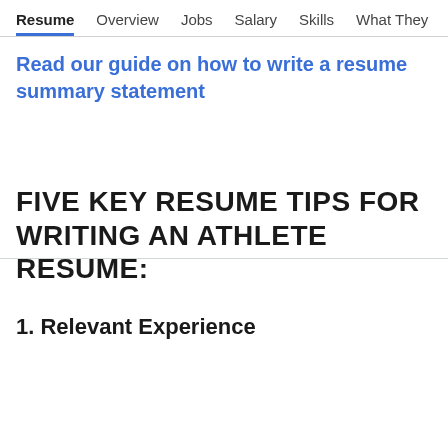Resume  Overview  Jobs  Salary  Skills  What They >
Read our guide on how to write a resume summary statement
FIVE KEY RESUME TIPS FOR WRITING AN ATHLETE RESUME:
1. Relevant Experience